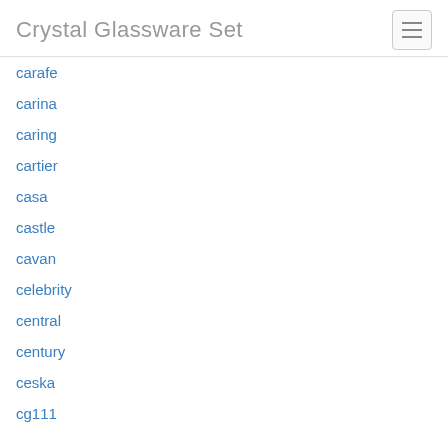Crystal Glassware Set
carafe
carina
caring
cartier
casa
castle
cavan
celebrity
central
century
ceska
cg111